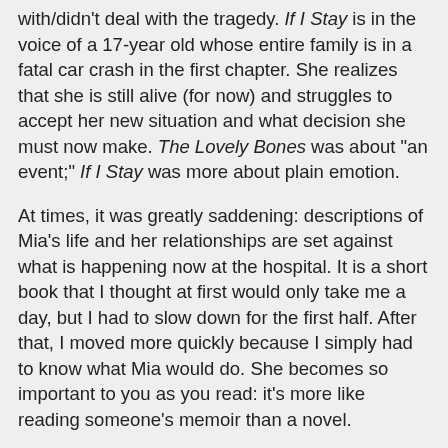with/didn't deal with the tragedy. If I Stay is in the voice of a 17-year old whose entire family is in a fatal car crash in the first chapter. She realizes that she is still alive (for now) and struggles to accept her new situation and what decision she must now make. The Lovely Bones was about "an event;" If I Stay was more about plain emotion.
At times, it was greatly saddening: descriptions of Mia's life and her relationships are set against what is happening now at the hospital. It is a short book that I thought at first would only take me a day, but I had to slow down for the first half. After that, I moved more quickly because I simply had to know what Mia would do. She becomes so important to you as you read: it's more like reading someone's memoir than a novel.
And when I finally closed the back cover, I felt like calling everyone I know to tell them how I appreciate them . . . I didn't actually do that, but the point is, this book made a definite impact on me. That's a big statement for me. I found this book so close in with human experience that I had to take something from it and continue pondering its content.